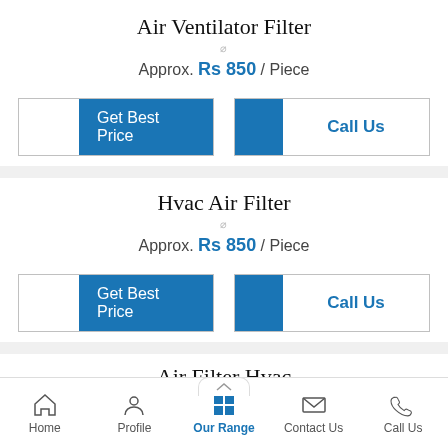Air Ventilator Filter
Approx. Rs 850 / Piece
[Figure (screenshot): Get Best Price button (blue) and Call Us button with blue accent]
Hvac Air Filter
Approx. Rs 850 / Piece
[Figure (screenshot): Get Best Price button (blue) and Call Us button with blue accent]
Air Filter Hvac
Home | Profile | Our Range | Contact Us | Call Us